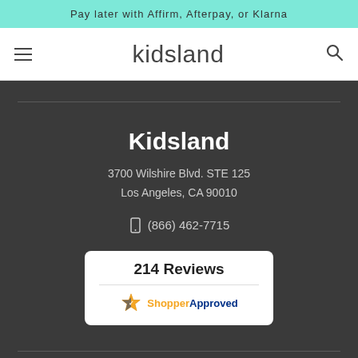Pay later with Affirm, Afterpay, or Klarna
[Figure (logo): Kidsland website navigation bar with hamburger menu, kidsland logo text, and search icon]
Kidsland
3700 Wilshire Blvd. STE 125
Los Angeles, CA 90010
(866) 462-7715
[Figure (other): Shopper Approved badge showing 214 Reviews with ShopperApproved logo]